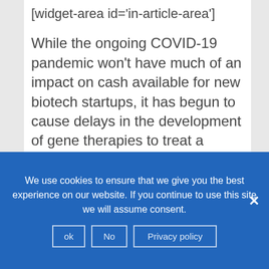[widget-area id='in-article-area']
While the ongoing COVID-19 pandemic won't have much of an impact on cash available for new biotech startups, it has begun to cause delays in the development of gene therapies to treat a variety of rare diseases.
That's the consensus of industry experts who spoke in a May 26 webinar hosted by
We use cookies to ensure that we give you the best experience on our website. If you continue to use this site we will assume consent.